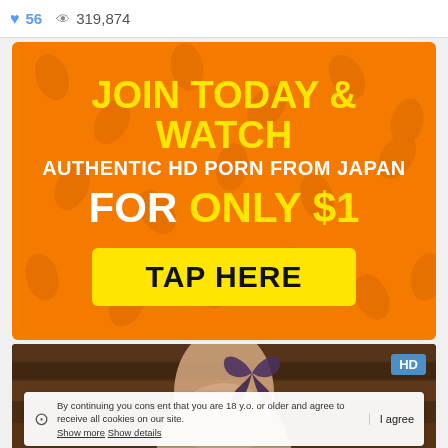56  319,874
[Figure (infographic): Orange advertisement banner with leaf pattern background. Text reads: JOIN TODAY & WATCH (yellow, large), AUTHENTIC HD PORN FROM JAPAN (white, bold), FOR ONLY $1 (white and yellow, large), with a yellow TAP HERE button.]
[Figure (photo): Partial view of a person's back with a butterfly tattoo, HD badge in top right corner, wooden background.]
By continuing you consent that you are 18 y.o. or older and agree to receive all cookies on our site. Show more  Show details